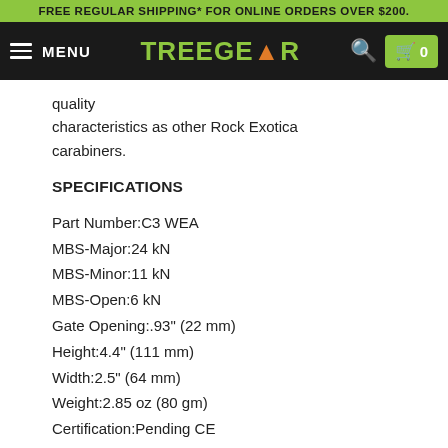FREE REGULAR SHIPPING* FOR ONLINE ORDERS OVER $200.
MENU | TREEGEAR | search | cart 0
quality characteristics as other Rock Exotica carabiners.
SPECIFICATIONS
Part Number:C3 WEA
MBS-Major:24 kN
MBS-Minor:11 kN
MBS-Open:6 kN
Gate Opening:.93" (22 mm)
Height:4.4" (111 mm)
Width:2.5" (64 mm)
Weight:2.85 oz (80 gm)
Certification:Pending CE